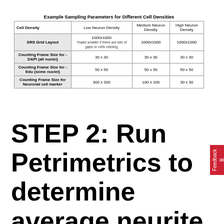Example Sampling Parameters for Different Cell Densities
| Cell Density | Low Neuron Density | Medium Neuron Density | High Neuron Density |
| --- | --- | --- | --- |
| SRS Grid Layout | 1000x1000
*make smaller if there are lots of gaps or cells missing | 1000x1000 | 1000x1000 |
| Counting Frame Size for - DAPI (all nuclei) | 30 x 30 | 30 x 30 | 30 x 30 |
| Counting Frame Size for - Edu (some nuclei) | 50 x 50 | 50 x 50 | 50 x 50 |
| Counting Frame Size for Neuronal cell marker | 300 x 300 | 100 x 100 | 30 x 30 |
STEP 2: Run Petrimetrics to determine average neurite length